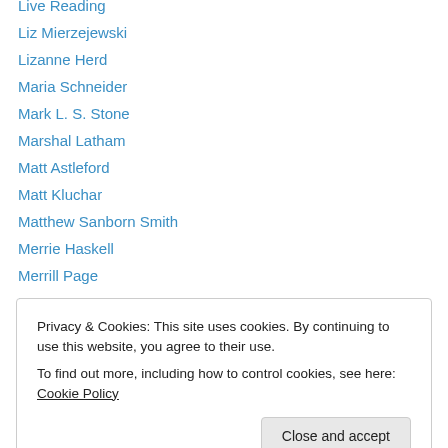Live Reading
Liz Mierzejewski
Lizanne Herd
Maria Schneider
Mark L. S. Stone
Marshal Latham
Matt Astleford
Matt Kluchar
Matthew Sanborn Smith
Merrie Haskell
Merrill Page
Meta
Michael A. Kechula
Privacy & Cookies: This site uses cookies. By continuing to use this website, you agree to their use. To find out more, including how to control cookies, see here: Cookie Policy
Morie Chui